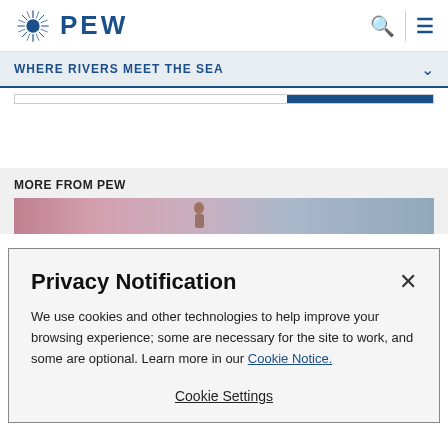PEW
WHERE RIVERS MEET THE SEA
MORE FROM PEW
[Figure (screenshot): Partial colorful image strip below MORE FROM PEW section]
Privacy Notification
We use cookies and other technologies to help improve your browsing experience; some are necessary for the site to work, and some are optional. Learn more in our Cookie Notice.
Cookie Settings